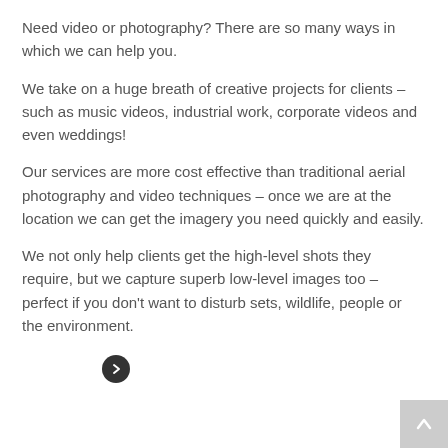Need video or photography? There are so many ways in which we can help you.
We take on a huge breath of creative projects for clients – such as music videos, industrial work, corporate videos and even weddings!
Our services are more cost effective than traditional aerial photography and video techniques – once we are at the location we can get the imagery you need quickly and easily.
We not only help clients get the high-level shots they require, but we capture superb low-level images too – perfect if you don't want to disturb sets, wildlife, people or the environment.
[Figure (other): Right-arrow navigation button (dark circle with white chevron)]
[Figure (other): Scroll-to-top button (grey square with white upward arrow)]